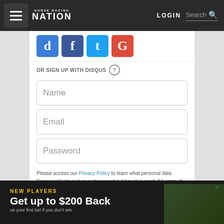Horse Racing Nation | LOGIN | Search
[Figure (screenshot): Social media sign-in icons: blue B (Disqus), blue f (Facebook), blue bird (Twitter), red G+ (Google)]
OR SIGN UP WITH DISQUS ?
Name
Email
Password
Please access our Privacy Policy to learn what personal data Disqus collects and your choices about how it is used. All users of our service are also subject to our Terms of Service.
[Figure (screenshot): Submit button with right arrow icon on grey background]
[Figure (infographic): Advertisement bar: NEW PLAYERS - Get up to $200 Back, with horse racing imagery in background]